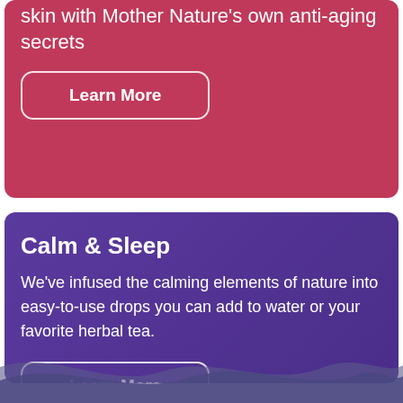skin with Mother Nature's own anti-aging secrets
Learn More
Calm & Sleep
We've infused the calming elements of nature into easy-to-use drops you can add to water or your favorite herbal tea.
Learn More
[Figure (illustration): Decorative wave shape in purple/blue at the bottom of the page]